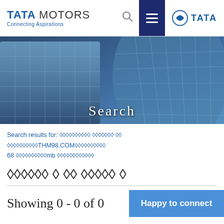TATA MOTORS - Connecting Aspirations
[Figure (screenshot): Tata Motors website screenshot showing navigation header with logo, search icon, hamburger menu, and Tata group logo on right. Below is a hero image of a glass building facade with 'Search' text overlay.]
Search results for: ???????????? ??????? ???????????????????THM98.COM?????????????? 68 ??????????????mb ???????????????
???????????????? ? ?? ????? ? (garbled characters as shown)
Showing 0 - 0 of 0
Happy to connect